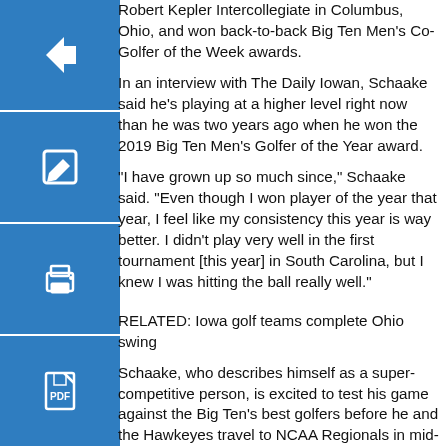Robert Kepler Intercollegiate in Columbus, Ohio, and won back-to-back Big Ten Men’s Co-Golfer of the Week awards.
[Figure (other): Blue square button with left arrow icon (back navigation)]
In an interview with The Daily Iowan, Schaake said he’s playing at a higher level right now than he was two years ago when he won the 2019 Big Ten Men’s Golfer of the Year award.
[Figure (other): Blue square button with edit/pencil icon]
“I have grown up so much since,” Schaake said. “Even though I won player of the year that year, I feel like my consistency this year is way better. I didn’t play very well in the first tournament [this year] in South Carolina, but I knew I was hitting the ball really well.”
[Figure (other): Blue square button with print icon]
RELATED: Iowa golf teams complete Ohio swing
[Figure (other): Blue square button with PDF/document icon]
Schaake, who describes himself as a super-competitive person, is excited to test his game against the Big Ten’s best golfers before he and the Hawkeyes travel to NCAA Regionals in mid-May.
Per GolfStat, Schaake is the 40th-best NCAA Division I Men’s Golfer in the nation. Illinois’ Adrien Dumont De Chassart and Michael Feagles are the only Big Ten golfers that rank higher than Schaake as individuals.
“Playing in a Big Ten Championship has a different feel,” Schaake said. “There’s just a little bit more added pressure and I like trying to test myself, to go out and try to prove myself with some really good